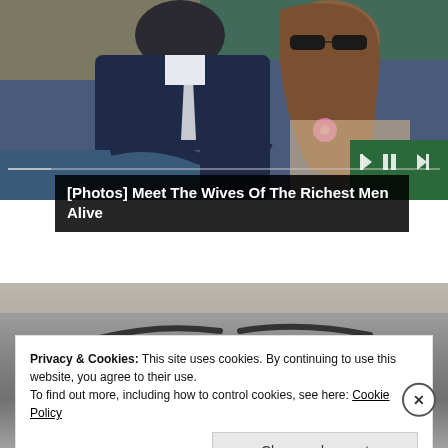[Figure (photo): Two people sitting together — a man in a dark navy suit with a light tie, and a woman with long brown hair wearing sunglasses and a lace/floral outfit with a pink flower, appearing to be at an outdoor event.]
[Photos] Meet The Wives Of The Richest Men Alive
[Figure (photo): Black and white close-up photo of a person's face, showing eyes and eyebrows.]
Privacy & Cookies: This site uses cookies. By continuing to use this website, you agree to their use.
To find out more, including how to control cookies, see here: Cookie Policy
Close and accept